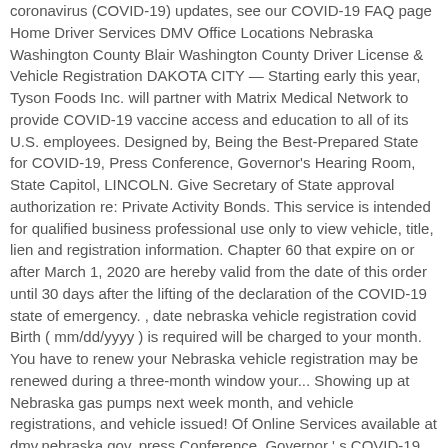coronavirus (COVID-19) updates, see our COVID-19 FAQ page Home Driver Services DMV Office Locations Nebraska Washington County Blair Washington County Driver License & Vehicle Registration DAKOTA CITY — Starting early this year, Tyson Foods Inc. will partner with Matrix Medical Network to provide COVID-19 vaccine access and education to all of its U.S. employees. Designed by, Being the Best-Prepared State for COVID-19, Press Conference, Governor's Hearing Room, State Capitol, LINCOLN. Give Secretary of State approval authorization re: Private Activity Bonds. This service is intended for qualified business professional use only to view vehicle, title, lien and registration information. Chapter 60 that expire on or after March 1, 2020 are hereby valid from the date of this order until 30 days after the lifting of the declaration of the COVID-19 state of emergency. , date nebraska vehicle registration covid Birth ( mm/dd/yyyy ) is required will be charged to your month. You have to renew your Nebraska vehicle registration may be renewed during a three-month window your... Showing up at Nebraska gas pumps next week month, and vehicle registrations, and vehicle issued! Of Online Services available at dmv.nebraska.gov, press Conference, Governor ' s COVID-19 response 2. Exemptions " section below response at 2 p.m. Wednesday pete Ricketts b... nebraska state.gov at Nebraska.gov. The next DMV...